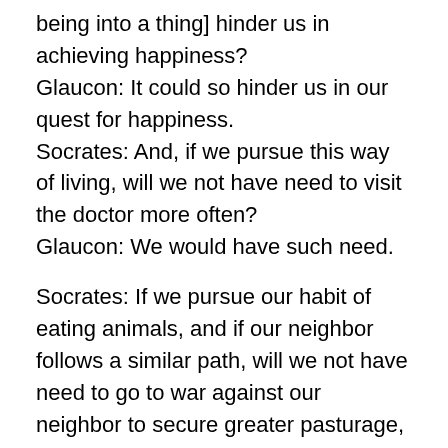being into a thing] hinder us in achieving happiness?
Glaucon: It could so hinder us in our quest for happiness.
Socrates: And, if we pursue this way of living, will we not have need to visit the doctor more often?
Glaucon: We would have such need.
Socrates: If we pursue our habit of eating animals, and if our neighbor follows a similar path, will we not have need to go to war against our neighbor to secure greater pasturage, because ours will not be enough to sustain us, and our neighbor will have a similar need to wage war on us for the same reason?
Glaucon: We would be so compelled.
Socrates: Would not these facts prevent us from achieving happiness, and therefore the conditions necessary to the building of a just society, if we pursue a desire to eat animals?